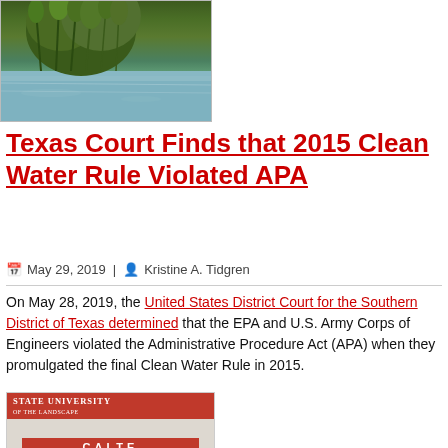[Figure (photo): Photograph of wetland vegetation and water, showing green marsh plants reflected in water]
Texas Court Finds that 2015 Clean Water Rule Violated APA
May 29, 2019 | Kristine A. Tidgren
On May 28, 2019, the United States District Court for the Southern District of Texas determined that the EPA and U.S. Army Corps of Engineers violated the Administrative Procedure Act (APA) when they promulgated the final Clean Water Rule in 2015.
[Figure (photo): Iowa State University publication cover showing CALFED or similar water policy document with red header bar]